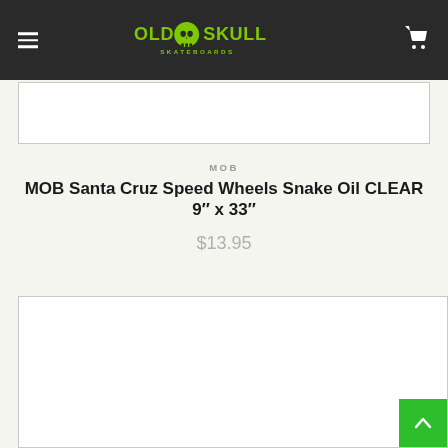Old Skull Skateboards — navigation header
[Figure (other): Empty white product image placeholder box (top)]
MOB
MOB Santa Cruz Speed Wheels Snake Oil CLEAR 9" x 33"
$13.95
[Figure (other): Empty white product image placeholder box (bottom)]